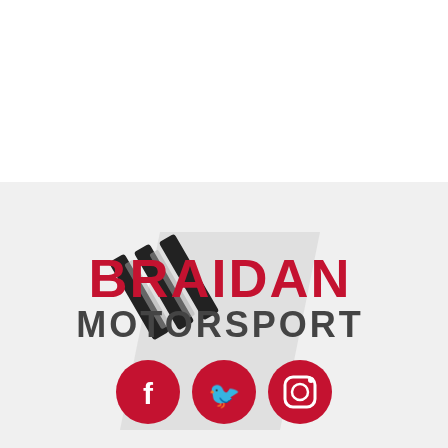[Figure (photo): Black banner/image area occupying the middle portion of the page]
[Figure (logo): Braidan Motorsport logo with checkered flag icon, red BRAIDAN text, dark gray MOTORSPORT text, and three social media icons (Facebook, Twitter, Instagram) in red circles below]